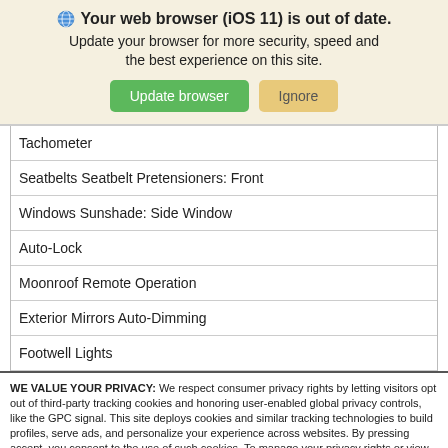Your web browser (iOS 11) is out of date. Update your browser for more security, speed and the best experience on this site.
| Tachometer |
| Seatbelts Seatbelt Pretensioners: Front |
| Windows Sunshade: Side Window |
| Auto-Lock |
| Moonroof Remote Operation |
| Exterior Mirrors Auto-Dimming |
| Footwell Lights |
WE VALUE YOUR PRIVACY: We respect consumer privacy rights by letting visitors opt out of third-party tracking cookies and honoring user-enabled global privacy controls, like the GPC signal. This site deploys cookies and similar tracking technologies to build profiles, serve ads, and personalize your experience across websites. By pressing accept, you consent to the use of such cookies. To manage your privacy rights or view the categories of personal information we collect and the purposes for which the information is used, click here.
Language: English — Powered by ComplyAuto
Accept and Continue → | Privacy Policy | ×